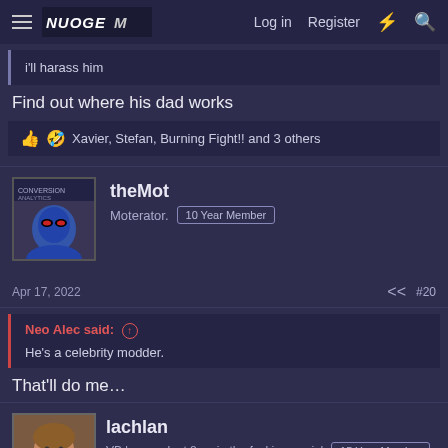Log in  Register
i'll harass him
Find out where his dad works
👍 😜 Xavier, Stefan, Burning Fight!! and 3 others
theMot
Moterator.   10 Year Member
Apr 17, 2022   #20
Neo Alec said: ↑
He's a celebrity modder.
That'll do me…
lachlan
VB longneck at 8am in the fuckin mornin'   15 Year Member